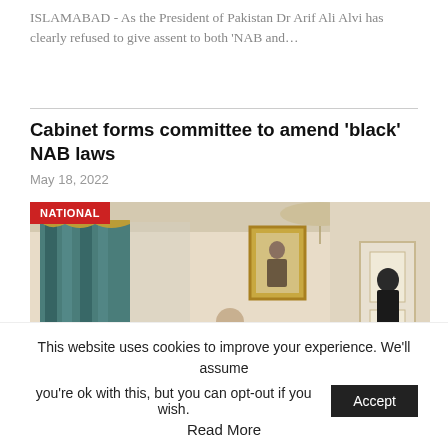ISLAMABAD - As the President of Pakistan Dr Arif Ali Alvi has clearly refused to give assent to both ‘NAB and…
Cabinet forms committee to amend ‘black’ NAB laws
May 18, 2022
[Figure (photo): A photo of a cabinet meeting in a formal hall with teal curtains, chandelier, and a portrait on the wall. Several officials are seated around a large conference table. A red badge labeled NATIONAL appears in the top-left corner.]
This website uses cookies to improve your experience. We'll assume you're ok with this, but you can opt-out if you wish.
Accept
Read More